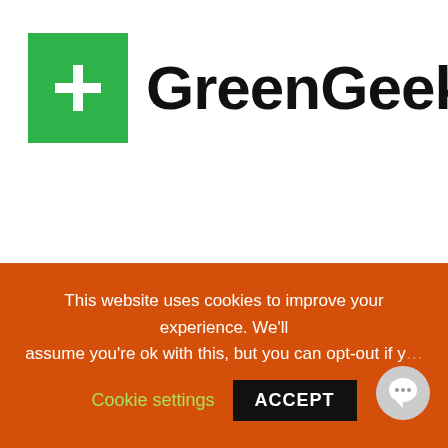[Figure (logo): GreenGeeks logo: green square with white plus sign on left, bold 'GreenGeeks' text with registered trademark symbol on right]
In Hosting our Websites
This website uses cookies to improve your experience. We'll assume you're ok with this, but you can opt-out if y...
Cookie settings   ACCEPT